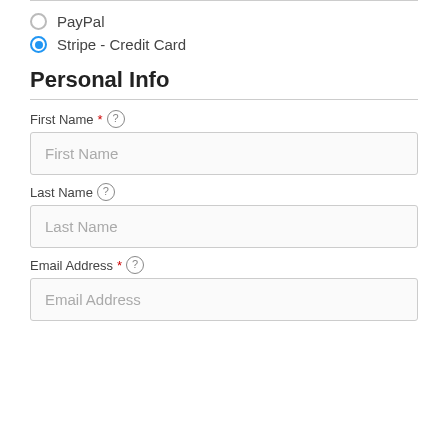PayPal
Stripe - Credit Card
Personal Info
First Name * ⓘ
[Figure (screenshot): First Name text input field with placeholder text 'First Name']
Last Name ⓘ
[Figure (screenshot): Last Name text input field with placeholder text 'Last Name']
Email Address * ⓘ
[Figure (screenshot): Email Address text input field with placeholder text 'Email Address']